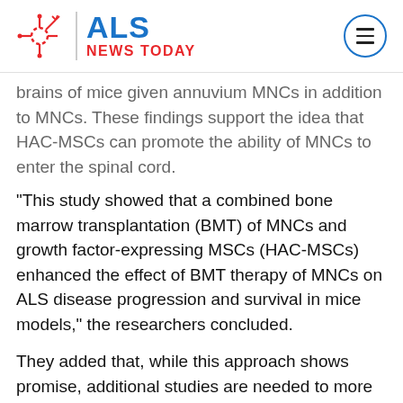[Figure (logo): ALS News Today logo with neuron graphic and red/blue text]
brains of mice given annuvium MNCs in addition to MNCs. These findings support the idea that HAC-MSCs can promote the ability of MNCs to enter the spinal cord.
“This study showed that a combined bone marrow transplantation (BMT) of MNCs and growth factor-expressing MSCs (HAC-MSCs) enhanced the effect of BMT therapy of MNCs on ALS disease progression and survival in mice models,” the researchers concluded.
They added that, while this approach shows promise, additional studies are needed to more fully understand the biological mechanisms of the combination treatment, and to ensure it would be safe for human use.
Print This Page